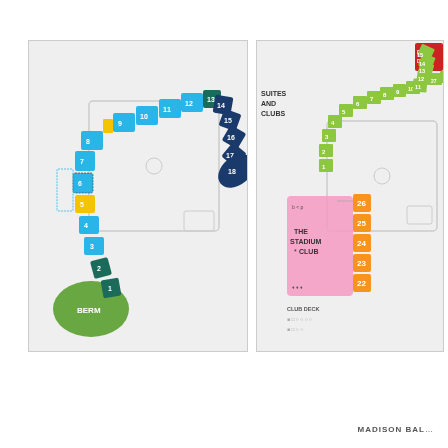[Figure (map): Baseball stadium seating chart left side showing sections 1-18, BERM area in green at bottom left, colored in cyan/light blue for most sections, dark teal for sections 2 and 13, yellow for sections 5 and between 8-9, dark navy for sections 14-18 curving right]
[Figure (map): Baseball stadium seating chart right side showing suites and clubs sections, lime green sections 1-15 and 27+ curving along top, orange sections 22-26, pink Stadium Club area in center left, PARTY/DEC label in red top right, CLUB DECK label at bottom]
MADISON BAL...